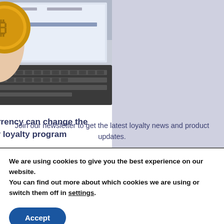[Figure (photo): Hand holding a gold Bitcoin coin in front of a laptop keyboard with a trading website visible on screen]
How cryptocurrency can change the customer loyalty program
Join our newsletter to get the latest loyalty news and product updates.
We are using cookies to give you the best experience on our website.
You can find out more about which cookies we are using or switch them off in settings.